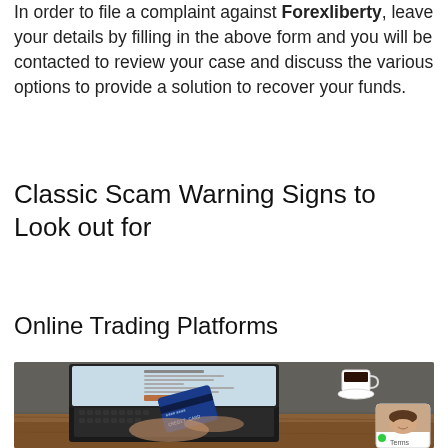In order to file a complaint against Forexliberty, leave your details by filling in the above form and you will be contacted to review your case and discuss the various options to provide a solution to recover your funds.
Classic Scam Warning Signs to Look out for
Online Trading Platforms
[Figure (photo): Photo of a person holding a credit card while typing on a laptop keyboard, with a coffee cup on a wooden desk. A chat widget with a smiling woman avatar appears in the bottom-right corner.]